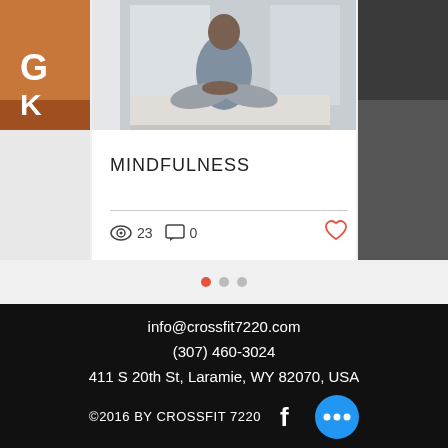[Figure (photo): Blog post card showing a person sitting cross-legged on a bed in a bright room, with partial images of other cards visible on left and right sides.]
MINDFULNESS
👁 23   💬 0   ♡
[Figure (infographic): Navigation dots: one filled red/orange, two grey, indicating carousel position.]
info@crossfit7220.com
(307) 460-3024
411 S 20th St, Laramie, WY 82070, USA
©2016 BY CROSSFIT 7220